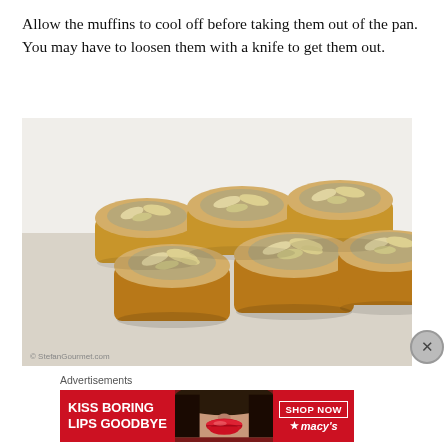Allow the muffins to cool off before taking them out of the pan. You may have to loosen them with a knife to get them out.
[Figure (photo): Six small round almond-topped muffins arranged on a light surface, with a white wall background. Photo credit: © StefanGourmet.com]
Advertisements
[Figure (screenshot): Advertisement banner for Macy's with red background reading 'KISS BORING LIPS GOODBYE' with a woman's face showing red lips, and a 'SHOP NOW' button with Macy's logo.]